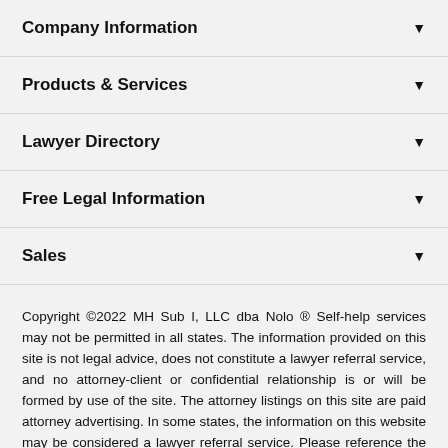Company Information
Products & Services
Lawyer Directory
Free Legal Information
Sales
Copyright ©2022 MH Sub I, LLC dba Nolo ® Self-help services may not be permitted in all states. The information provided on this site is not legal advice, does not constitute a lawyer referral service, and no attorney-client or confidential relationship is or will be formed by use of the site. The attorney listings on this site are paid attorney advertising. In some states, the information on this website may be considered a lawyer referral service. Please reference the Terms of Use and the Supplemental Terms for specific information related to your state. Your use of this website constitutes acceptance of the Terms of Use, Supplemental Terms, Privacy Policy and Cookie Policy. Do Not Sell My Personal